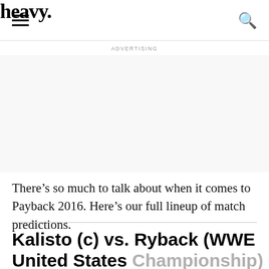heavy.
ADVERTISING
There’s so much to talk about when it comes to Payback 2016. Here’s our full lineup of match predictions.
Kalisto (c) vs. Ryback (WWE United States Championship)